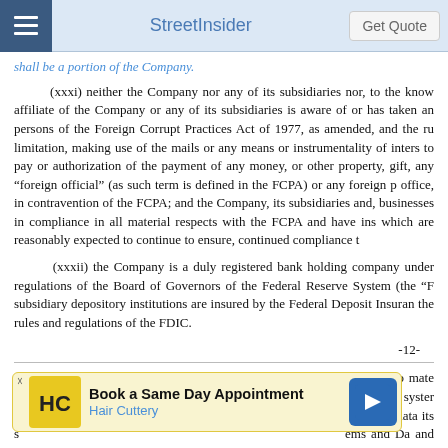StreetInsider
shall be a portion of the Company.
(xxxi) neither the Company nor any of its subsidiaries nor, to the knowledge of any affiliate of the Company or any of its subsidiaries is aware of or has taken any action, or persons of the Foreign Corrupt Practices Act of 1977, as amended, and the rules and, without limitation, making use of the mails or any means or instrumentality of interstate commerce, to pay or authorization of the payment of any money, or other property, gift, any "foreign official" (as such term is defined in the FCPA) or any foreign political candidate or office, in contravention of the FCPA; and the Company, its subsidiaries and, businesses in compliance in all material respects with the FCPA and have instituted which are reasonably expected to continue to ensure, continued compliance t
(xxxii) the Company is a duly registered bank holding company under the regulations of the Board of Governors of the Federal Reserve System (the "F subsidiary depository institutions are insured by the Federal Deposit Insuran the rules and regulations of the FDIC.
-12-
(xxxiii) (A) to the knowledge of the Company, there has been no mater Company's and its subsidiaries' information technology and computer syste respective customers, employees, suppliers, vendors and any third party data its s tems and Da and sonably be e IT S presently in c